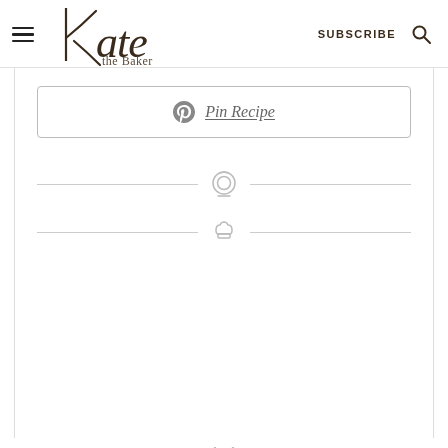Kate the Baker — SUBSCRIBE
[Figure (screenshot): Pin Recipe button with Pinterest icon and underlined italic text 'Pin Recipe']
[Figure (illustration): Two horizontal divider lines with icons: a power/timer icon and a chef hat icon centered between the lines]